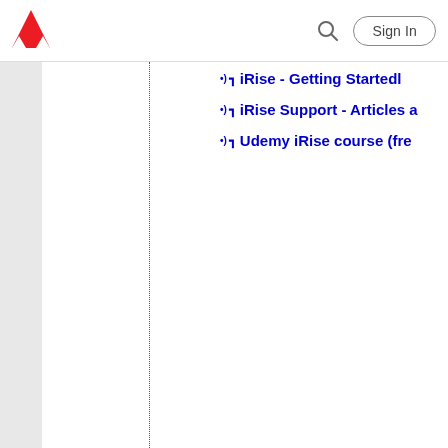Adobe logo, Search, Sign In
iRise - Getting Startedl
iRise Support - Articles a
Udemy iRise course (fre